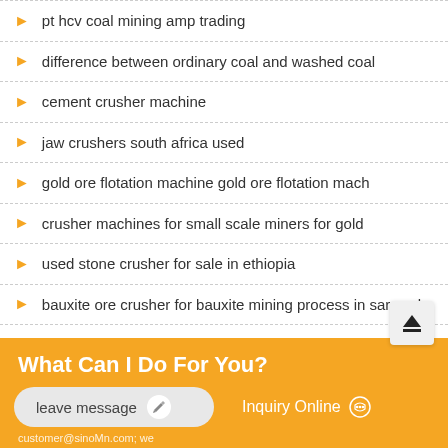pt hcv coal mining amp trading
difference between ordinary coal and washed coal
cement crusher machine
jaw crushers south africa used
gold ore flotation machine gold ore flotation mach
crusher machines for small scale miners for gold
used stone crusher for sale in ethiopia
bauxite ore crusher for bauxite mining process in sarawak
What Can I Do For You?
leave message
Inquiry Online
customer@sinoMn.com; we